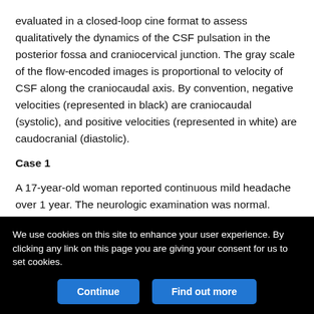evaluated in a closed-loop cine format to assess qualitatively the dynamics of the CSF pulsation in the posterior fossa and craniocervical junction. The gray scale of the flow-encoded images is proportional to velocity of CSF along the craniocaudal axis. By convention, negative velocities (represented in black) are craniocaudal (systolic), and positive velocities (represented in white) are caudocranial (diastolic).
Case 1
A 17-year-old woman reported continuous mild headache over 1 year. The neurologic examination was normal. Cranial CT study revealed a supratentorial hydrocephalus and cranial MR imaging, which included sagittal, coronal, and transverse T1- and T2-weighted
We use cookies on this site to enhance your user experience. By clicking any link on this page you are giving your consent for us to set cookies.